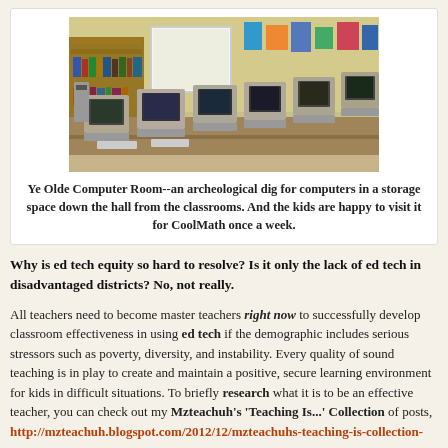[Figure (photo): A classroom computer lab with rows of old CRT desktop computers on tables, bookshelves along the wall, and educational posters on yellow walls.]
Ye Olde Computer Room--an archeological dig for computers in a storage space down the hall from the classrooms. And the kids are happy to visit it for CoolMath once a week.
Why is ed tech equity so hard to resolve? Is it only the lack of ed tech in disadvantaged districts? No, not really.
All teachers need to become master teachers right now to successfully develop classroom effectiveness in using ed tech if the demographic includes serious stressors such as poverty, diversity, and instability. Every quality of sound teaching is in play to create and maintain a positive, secure learning environment for kids in difficult situations. To briefly research what it is to be an effective teacher, you can check out my Mzteachuh's 'Teaching Is...' Collection of posts, http://mzteachuh.blogspot.com/2012/12/mzteachuhs-teaching-is-collection-